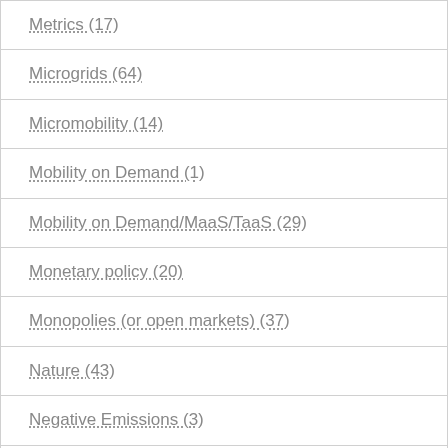Metrics (17)
Microgrids (64)
Micromobility (14)
Mobility on Demand (1)
Mobility on Demand/MaaS/TaaS (29)
Monetary policy (20)
Monopolies (or open markets) (37)
Nature (43)
Negative Emissions (3)
Neoliberalism (40)
New Tech (57)
News (1,020)